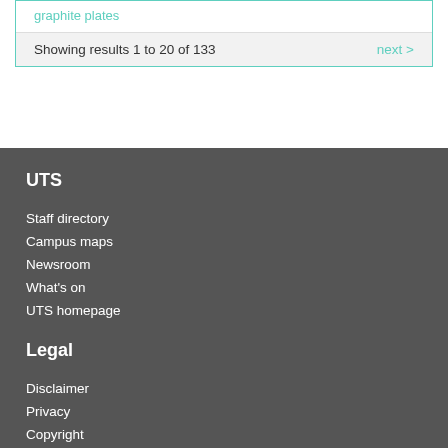graphite plates
Showing results 1 to 20 of 133   next >
UTS
Staff directory
Campus maps
Newsroom
What's on
UTS homepage
Legal
Disclaimer
Privacy
Copyright